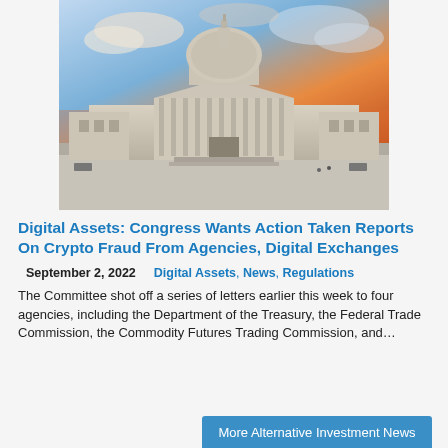[Figure (photo): Photo of the United States Capitol building at dusk/sunset with colorful sky, wide plaza in foreground]
Digital Assets: Congress Wants Action Taken Reports On Crypto Fraud From Agencies, Digital Exchanges
September 2, 2022   Digital Assets, News, Regulations
The Committee shot off a series of letters earlier this week to four agencies, including the Department of the Treasury, the Federal Trade Commission, the Commodity Futures Trading Commission, and...
More Alternative Investment News